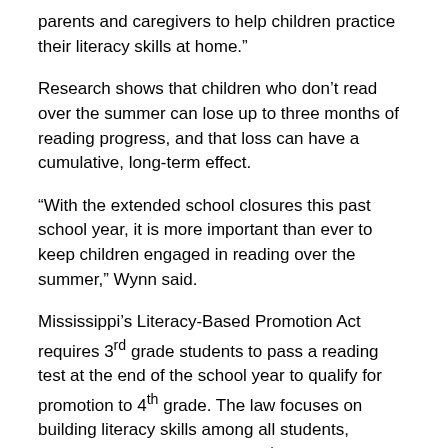parents and caregivers to help children practice their literacy skills at home.”
Research shows that children who don’t read over the summer can lose up to three months of reading progress, and that loss can have a cumulative, long-term effect.
“With the extended school closures this past school year, it is more important than ever to keep children engaged in reading over the summer,” Wynn said.
Mississippi’s Literacy-Based Promotion Act requires 3rd grade students to pass a reading test at the end of the school year to qualify for promotion to 4th grade. The law focuses on building literacy skills among all students, particularly in pre-K through 3rd grade. Since the law was implemented, reading scores among Mississippi elementary students have increased at a faster rate than all other states.
###